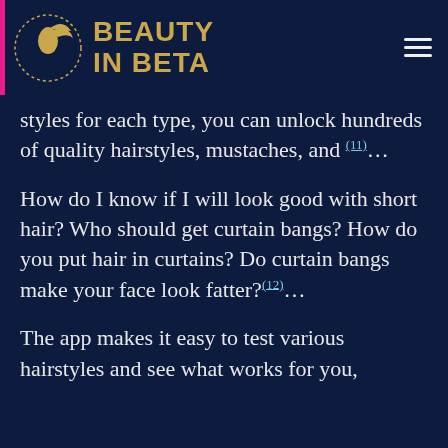BEAUTY IN BETA
styles for each type, you can unlock hundreds of quality hairstyles, mustaches, and (11)...
How do I know if I will look good with short hair? Who should get curtain bangs? How do you put hair in curtains? Do curtain bangs make your face look fatter?(12)...
The app makes it easy to test various hairstyles and see what works for you,